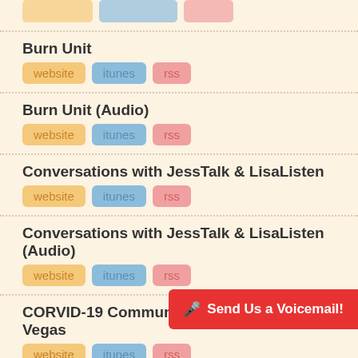Burn Unit
Burn Unit (Audio)
Conversations with JessTalk & LisaListen
Conversations with JessTalk & LisaListen (Audio)
CORVID-19 Community Update for Las Vegas
Cup of Morning Sunshine
Front Row Center Stage (A
Send Us a Voicemail!